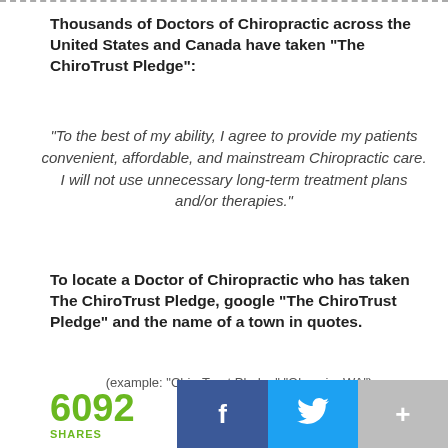Thousands of Doctors of Chiropractic across the United States and Canada have taken "The ChiroTrust Pledge":
“To the best of my ability, I agree to provide my patients convenient, affordable, and mainstream Chiropractic care. I will not use unnecessary long-term treatment plans and/or therapies.”
To locate a Doctor of Chiropractic who has taken The ChiroTrust Pledge, google "The ChiroTrust Pledge" and the name of a town in quotes.
(example: “ChiroTrust Pledge” “Olympia, WA”)